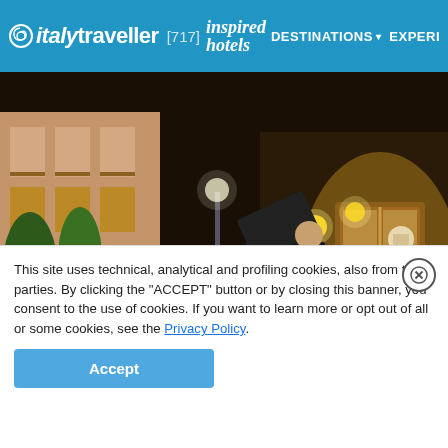italytraveller [717] inspired hotels | DESTINATIONS | EXPERI...
[Figure (photo): Hotel entrance scene at dusk: a valet/bellman in dark suit unloading luggage from a black sedan, a woman in black standing near illuminated revolving wooden door of a luxury hotel. Warm golden lights, European building facade in background.]
[Figure (photo): Strip of 7 thumbnail images showing hotel interiors and exteriors: lobby, corridor, room, lounge, sitting area, garden/courtyard, hallway]
This site uses technical, analytical and profiling cookies, also from third parties. By clicking the "ACCEPT" button or by closing this banner, you consent to the use of cookies. If you want to learn more or opt out of all or some cookies, see the Privacy Policy.
Accept